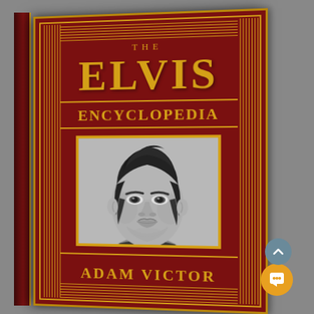[Figure (photo): Book cover of 'The Elvis Encyclopedia' by Adam Victor. Dark red hardcover book with gold Art Deco decorative border featuring fan/sunburst striped patterns on the sides. The title 'THE' appears in small gold letters at top, 'ELVIS' in large bold gold letters, 'ENCYCLOPEDIA' in medium gold letters. A black and white portrait photograph of Elvis Presley (young, with signature pompadour hairstyle) occupies the center of the cover in a gold-framed rectangle. The author name 'ADAM VICTOR' appears at the bottom in gold letters. A gold chat/message bubble icon and a grey scroll-to-top button are overlaid in the lower right corner.]